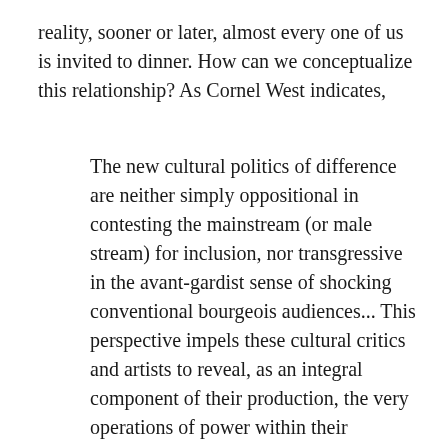reality, sooner or later, almost every one of us is invited to dinner. How can we conceptualize this relationship? As Cornel West indicates,
The new cultural politics of difference are neither simply oppositional in contesting the mainstream (or male stream) for inclusion, nor transgressive in the avant-gardist sense of shocking conventional bourgeois audiences... This perspective impels these cultural critics and artists to reveal, as an integral component of their production, the very operations of power within their immediate work contexts (i.e., academy, museum, gallery, mass media). This strategy, however, puts them in an inescapable double bind – while linking their activities to the fundamental, structural overhaul of these